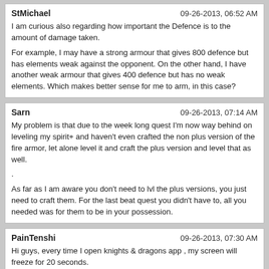StMichael | 09-26-2013, 06:52 AM
I am curious also regarding how important the Defence is to the amount of damage taken.

For example, I may have a strong armour that gives 800 defence but has elements weak against the opponent. On the other hand, I have another weak armour that gives 400 defence but has no weak elements. Which makes better sense for me to arm, in this case?
Sarn | 09-26-2013, 07:14 AM
My problem is that due to the week long quest I'm now way behind on leveling my spirit+ and haven't even crafted the non plus version of the fire armor, let alone level it and craft the plus version and level that as well.
.
As far as I am aware you don't need to lvl the plus versions, you just need to craft them. For the last beat quest you didn't have to, all you needed was for them to be in your possession.
PainTenshi | 09-26-2013, 07:30 AM
Hi guys, every time I open knights & dragons app , my screen will freeze for 20 seconds.
It happen without fail every single time! Does it means my phone is too slow?
EljayK | 09-26-2013, 08:14 AM
Mine does this before the news pops up. Maybe it's just waiting for the news banner? So long as it doesn't stay frozen, it may be any one of normal problems; slow phone, slow connection, etc.